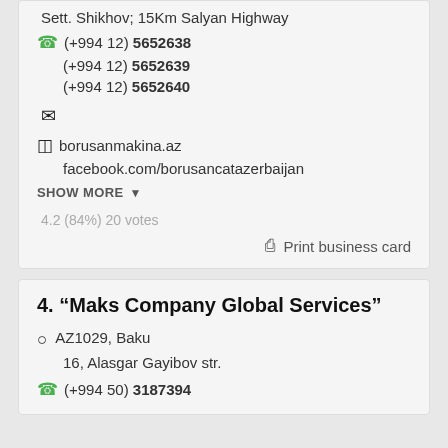Sett. Shikhov; 15Km Salyan Highway
(+994 12) 5652638
(+994 12) 5652639
(+994 12) 5652640
borusanmakina.az
facebook.com/borusancatazerbaijan
SHOW MORE
4.2 (84%) 20 votes
Print business card
4. "Maks Company Global Services"
AZ1029, Baku
16, Alasgar Gayibov str.
(+994 50) 3187394